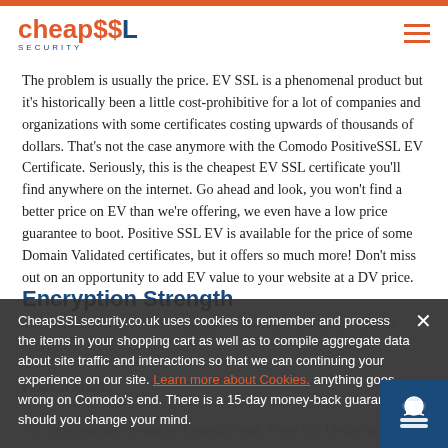CheapSSL Security logo and navigation
The problem is usually the price. EV SSL is a phenomenal product but it's historically been a little cost-prohibitive for a lot of companies and organizations with some certificates costing upwards of thousands of dollars. That's not the case anymore with the Comodo PositiveSSL EV Certificate. Seriously, this is the cheapest EV SSL certificate you'll find anywhere on the internet. Go ahead and look, you won't find a better price on EV than we're offering, we even have a low price guarantee to boot. Positive SSL EV is available for the price of some Domain Validated certificates, but it offers so much more! Don't miss out on an opportunity to add EV value to your website at a DV price.
Encryption Strength
The Positive SSL EV comes equipped with industry-standard 256-bit...
Peace of Mind...
CheapSSLsecurity.co.uk uses cookies to remember and process the items in your shopping cart as well as to compile aggregate data about site traffic and interactions so that we can continue improving your experience on our site. Learn more about Cookies. anything goes wrong on Comodo's end. There is a 15-day money-back guarantee should you change your mind.